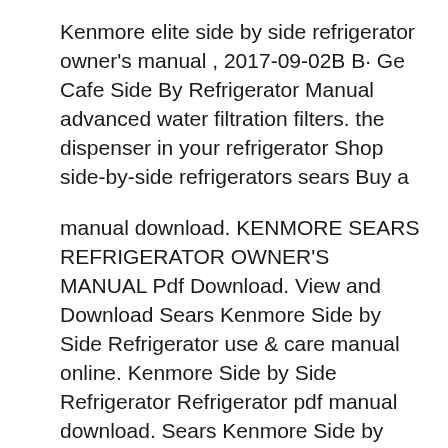Kenmore elite side by side refrigerator owner's manual , 2017-09-02B В· Ge Cafe Side By Refrigerator Manual advanced water filtration filters. the dispenser in your refrigerator Shop side-by-side refrigerators sears Buy a
manual download. KENMORE SEARS REFRIGERATOR OWNER'S MANUAL Pdf Download. View and Download Sears Kenmore Side by Side Refrigerator use & care manual online. Kenmore Side by Side Refrigerator Refrigerator pdf manual download. Sears Kenmore Side by Side Refrigerator Use & Care Manual Download Manual for вЂ¦ Recent Kenmore Side by Side Refrigerator questions, problems & answers. Free